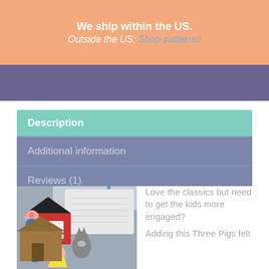We ship within the US.
Outside the US: Shop patterns!
Description
Additional information
Reviews (1)
[Figure (photo): Photo of Three Pigs felt board pieces including pig characters, a wolf, and house structures with craft materials in background]
Love the classics but need to get the kids more engaged?
Adding this Three Pigs felt